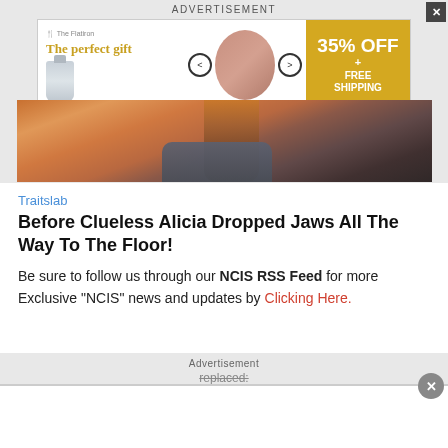ADVERTISEMENT
[Figure (screenshot): Advertisement banner for 'The perfect gift' showing product images, navigation arrows, and a yellow '35% OFF + FREE SHIPPING' badge]
[Figure (photo): Outdoor photo of a woman with long auburn hair from behind, in a warm desert/field setting]
Traitslab
Before Clueless Alicia Dropped Jaws All The Way To The Floor!
Be sure to follow us through our NCIS RSS Feed for more Exclusive "NCIS" news and updates by Clicking Here.
Advertisement
replaced: